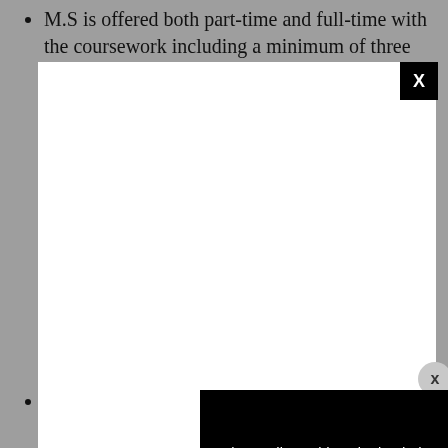M.S is offered both part-time and full-time with the coursework including a minimum of three
[Figure (screenshot): A modal/popup overlay with a white content area (blank), a black X close button in top right corner, a circular X dismiss button on the right side, and a black media error panel reading: 'The media could not be loaded, either because the server or network failed or because the format is not supported.' with an X icon overlay.]
It is a top research institute well reputed for its courses in Pharmacy, distinguished faculty and